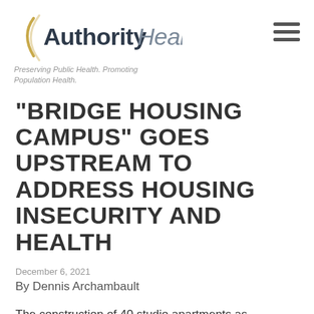[Figure (logo): Authority Health logo with arc/parenthesis graphic and tagline 'Preserving Public Health. Promoting Population Health.']
“BRIDGE HOUSING CAMPUS” GOES UPSTREAM TO ADDRESS HOUSING INSECURITY AND HEALTH
December 6, 2021
By Dennis Archambault
The construction of 40 studio apartments as temporary shelter for housing insecure people in